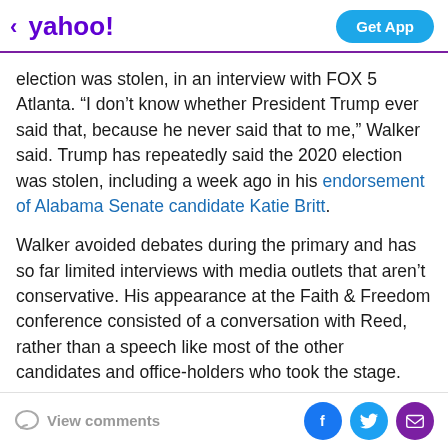< yahoo! | Get App
election was stolen, in an interview with FOX 5 Atlanta. “I don’t know whether President Trump ever said that, because he never said that to me,” Walker said. Trump has repeatedly said the 2020 election was stolen, including a week ago in his endorsement of Alabama Senate candidate Katie Britt.
Walker avoided debates during the primary and has so far limited interviews with media outlets that aren’t conservative. His appearance at the Faith & Freedom conference consisted of a conversation with Reed, rather than a speech like most of the other candidates and office-holders who took the stage.
View comments